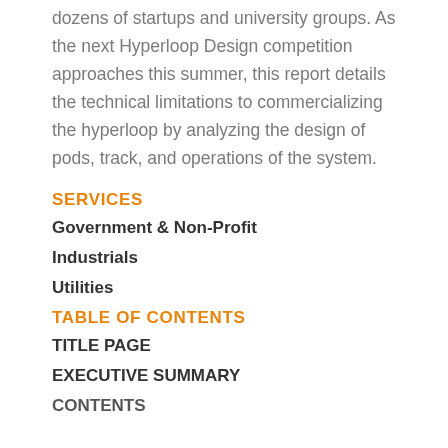dozens of startups and university groups. As the next Hyperloop Design competition approaches this summer, this report details the technical limitations to commercializing the hyperloop by analyzing the design of pods, track, and operations of the system.
SERVICES
Government & Non-Profit
Industrials
Utilities
TABLE OF CONTENTS
TITLE PAGE
EXECUTIVE SUMMARY
CONTENTS